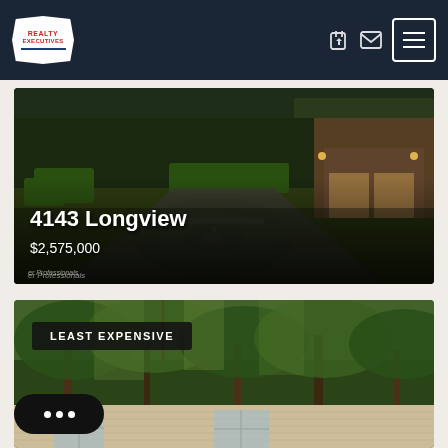[Figure (logo): Realty Executives logo - white badge shape with red text on dark navy navbar]
[Figure (photo): Luxury home front yard with circular fountain landscaping, green hedges, driveway, garage, and brick exterior at dusk]
4143 Longview
$2,575,000
er Professionals
[Figure (photo): House exterior partially visible through dense green tree canopy, daylight]
LEAST EXPENSIVE